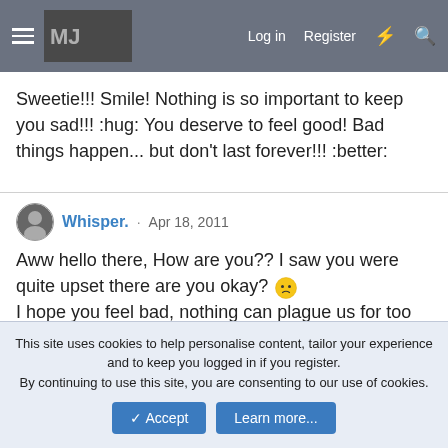Log in  Register
Sweetie!!! Smile! Nothing is so important to keep you sad!!! :hug: You deserve to feel good! Bad things happen... but don't last forever!!! :better:
Whisper. · Apr 18, 2011
Aww hello there, How are you?? I saw you were quite upset there are you okay? 🙁
I hope you feel bad, nothing can plague us for too long, only if we let it bother us,
Keep your head up, there is nothing placed along our shoulders
This site uses cookies to help personalise content, tailor your experience and to keep you logged in if you register.
By continuing to use this site, you are consenting to our use of cookies.